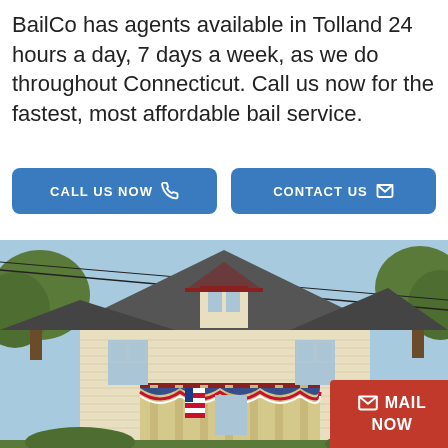BailCo has agents available in Tolland 24 hours a day, 7 days a week, as we do throughout Connecticut. Call us now for the fastest, most affordable bail service.
[Figure (other): Two blue rounded-rectangle CTA buttons side by side: 'CALL US NOW' with phone icon, and 'CONTACT US' with envelope icon]
[Figure (photo): Photograph of a large Victorian-style house decorated with American flags and patriotic bunting, with trees in the background and utility lines overhead. A red 'MAIL NOW' button with envelope icon overlays the bottom-right corner.]